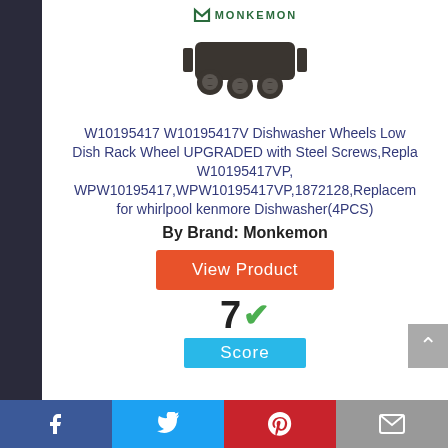[Figure (logo): Monkemon brand logo with stylized M icon and MONKEMON text]
[Figure (photo): Product photo of W10195417 dishwasher lower rack wheels, dark gray plastic assembly with rollers]
W10195417 W10195417V Dishwasher Wheels Lower Dish Rack Wheel UPGRADED with Steel Screws,Replaces W10195417VP, WPW10195417,WPW10195417VP,1872128,Replacement for whirlpool kenmore Dishwasher(4PCS)
By Brand: Monkemon
View Product
7 ✓ Score
Facebook Twitter Pinterest Email